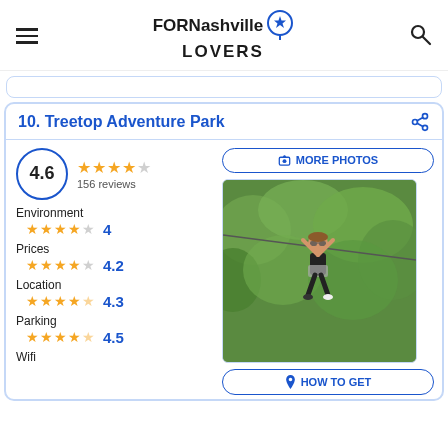FORNashville LOVERS
10. Treetop Adventure Park
4.6 — 156 reviews
Environment ★★★★☆ 4
Prices ★★★★☆ 4.2
Location ★★★★☆ 4.3
Parking ★★★★☆ 4.5
Wifi
[Figure (photo): Woman on a zipline at Treetop Adventure Park surrounded by trees]
MORE PHOTOS
HOW TO GET